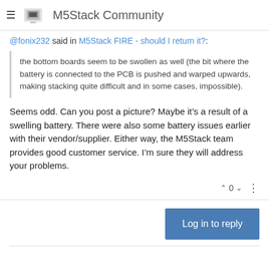M5Stack Community
@fonix232 said in M5Stack FIRE - should I return it?:
the bottom boards seem to be swollen as well (the bit where the battery is connected to the PCB is pushed and warped upwards, making stacking quite difficult and in some cases, impossible).
Seems odd. Can you post a picture? Maybe it’s a result of a swelling battery. There were also some battery issues earlier with their vendor/supplier. Either way, the M5Stack team provides good customer service. I’m sure they will address your problems.
Log in to reply